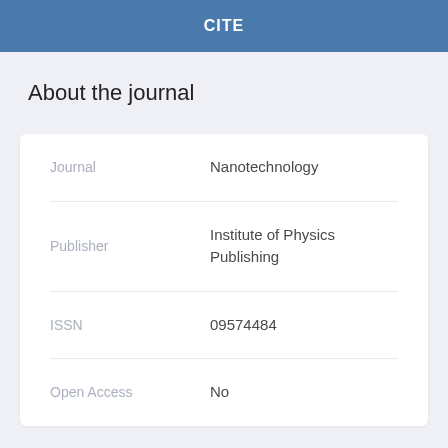CITE
About the journal
| Field | Value |
| --- | --- |
| Journal | Nanotechnology |
| Publisher | Institute of Physics Publishing |
| ISSN | 09574484 |
| Open Access | No |